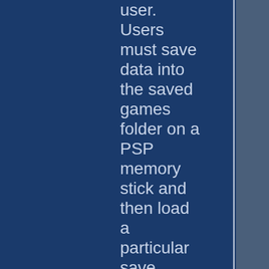user. Users must save data into the saved games folder on a PSP memory stick and then load a particular save game slot in Liberty City Stories. This technique requires, obviously, that users have a copy of the Liberty